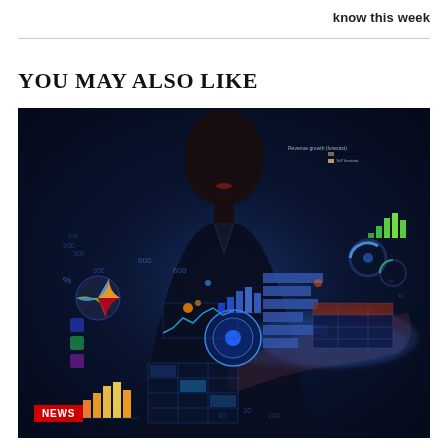know this week
YOU MAY ALSO LIKE
[Figure (photo): A person in a dark suit holding out their hand with holographic data visualizations floating above it — charts, graphs, pie charts, bar charts, percentage numbers — in a blue-lit futuristic setting. A red NEWS badge appears in the bottom-left corner of the image.]